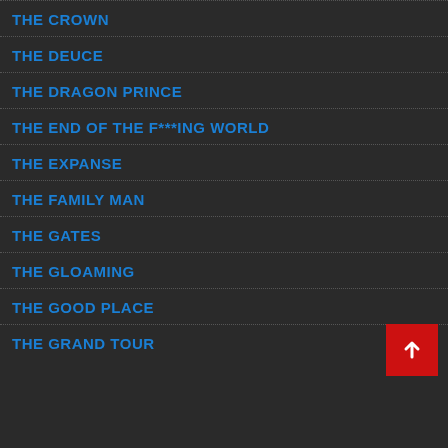THE CROWN
THE DEUCE
THE DRAGON PRINCE
THE END OF THE F***ING WORLD
THE EXPANSE
THE FAMILY MAN
THE GATES
THE GLOAMING
THE GOOD PLACE
THE GRAND TOUR